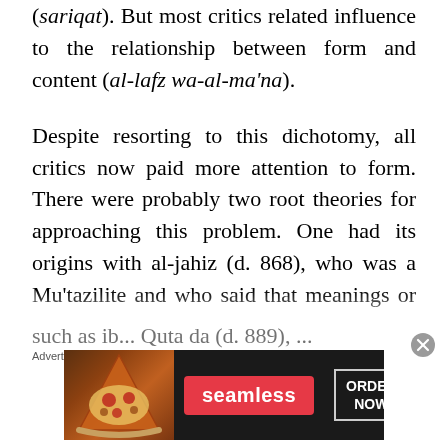(sariqat). But most critics related influence to the relationship between form and content (al-lafz wa-al-ma'na).
Despite resorting to this dichotomy, all critics now paid more attention to form. There were probably two root theories for approaching this problem. One had its origins with al-jahiz (d. 868), who was a Mu'tazilite and who said that meanings or contents were readily available in every walk of life but what really mattered in literature was form or composition. Others,
Advertisements
[Figure (other): Seamless food delivery advertisement banner showing pizza image on left, Seamless logo in red, and ORDER NOW button on right against dark background.]